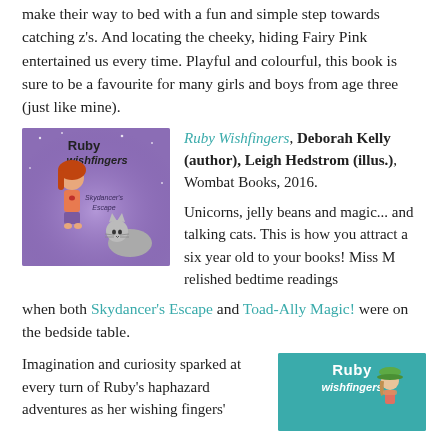make their way to bed with a fun and simple step towards catching z's. And locating the cheeky, hiding Fairy Pink entertained us every time. Playful and colourful, this book is sure to be a favourite for many girls and boys from age three (just like mine).
[Figure (illustration): Book cover of Ruby Wishfingers: Skydancer's Escape, showing a cartoon girl with red hair and a grey cat on a purple background]
Ruby Wishfingers, Deborah Kelly (author), Leigh Hedstrom (illus.), Wombat Books, 2016.
Unicorns, jelly beans and magic... and talking cats. This is how you attract a six year old to your books! Miss M relished bedtime readings when both Skydancer's Escape and Toad-Ally Magic! were on the bedside table.
Imagination and curiosity sparked at every turn of Ruby's haphazard adventures as her wishing fingers'
[Figure (illustration): Book cover of Ruby Wishfingers with a girl in a green hat on a teal background]